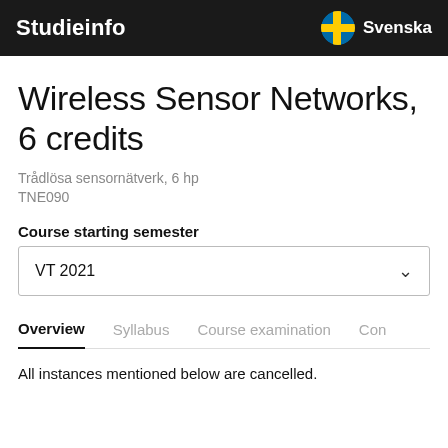Studieinfo | Svenska
Wireless Sensor Networks, 6 credits
Trådlösa sensornätverk, 6 hp
TNE090
Course starting semester
VT 2021
Overview | Syllabus | Course examination | Con
All instances mentioned below are cancelled.